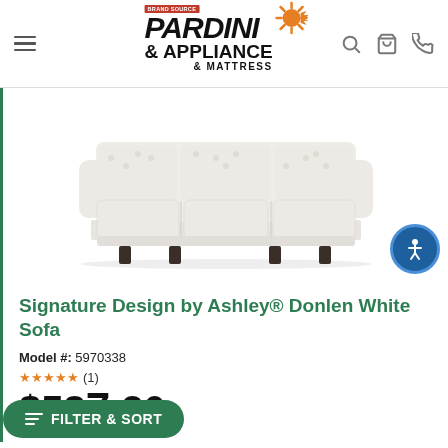Pardini Appliance & Mattress
[Figure (photo): White three-seat sofa with tufted back and dark legs — Signature Design by Ashley Donlen White Sofa]
Signature Design by Ashley® Donlen White Sofa
Model #: 5970338
(1)
$537.20